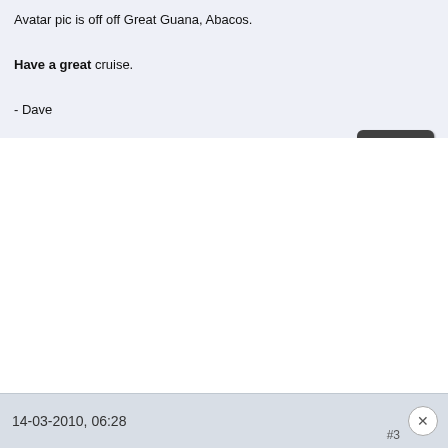Avatar pic is off off Great Guana, Abacos.
Have a great cruise.
- Dave
14-03-2010, 06:28  #3